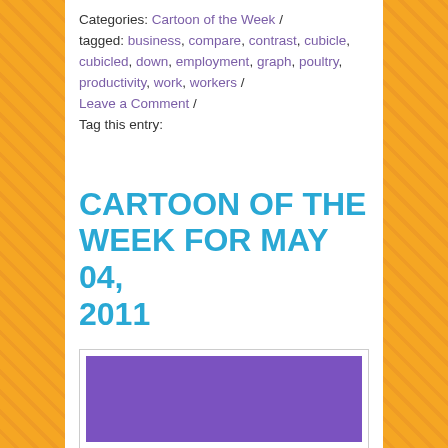Categories: Cartoon of the Week / tagged: business, compare, contrast, cubicle, cubicled, down, employment, graph, poultry, productivity, work, workers / Leave a Comment / Tag this entry:
CARTOON OF THE WEEK FOR MAY 04, 2011
[Figure (illustration): Purple rectangle representing a cartoon image placeholder]